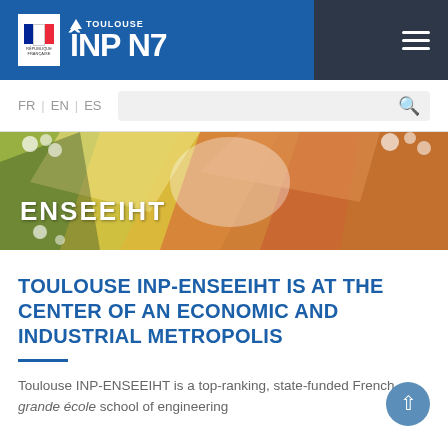[Figure (screenshot): Toulouse INP N7 website header with logo, Republic badge, and navigation menu icon on blue and dark background]
[Figure (photo): Hero banner image showing abstract colorful origami/floral decoration with text ENSEEIHT overlaid]
TOULOUSE INP-ENSEEIHT IS AT THE CENTER OF AN ECONOMIC AND INDUSTRIAL METROPOLIS
Toulouse INP-ENSEEIHT is a top-ranking, state-funded French grande école school of engineering